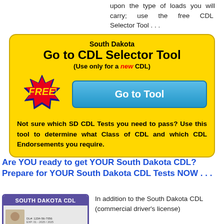upon the type of loads you will carry; use the free CDL Selector Tool . . .
[Figure (infographic): Yellow rounded box with South Dakota Go to CDL Selector Tool banner, FREE badge, Go to Tool button, and descriptive text about SD CDL tests.]
Are YOU ready to get YOUR South Dakota CDL?
Prepare for YOUR South Dakota CDL Tests NOW . . .
[Figure (illustration): South Dakota CDL card graphic with purple header and sample license details]
In addition to the South Dakota CDL (commercial driver's license)